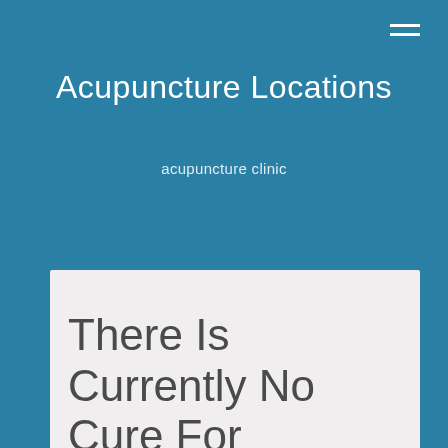Acupuncture Locations
acupuncture clinic
There Is Currently No Cure For